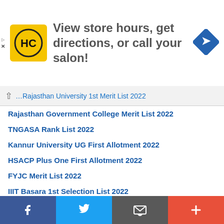[Figure (other): Advertisement banner: HC logo (yellow square with HC initials) and text 'View store hours, get directions, or call your salon!' with a blue direction arrow icon on the right]
Rajasthan University 1st Merit List 2022
Rajasthan Government College Merit List 2022
TNGASA Rank List 2022
Kannur University UG First Allotment 2022
HSACP Plus One First Allotment 2022
FYJC Merit List 2022
IIIT Basara 1st Selection List 2022
[Figure (other): Bottom social sharing toolbar with Facebook, Twitter, email/share, and plus buttons]